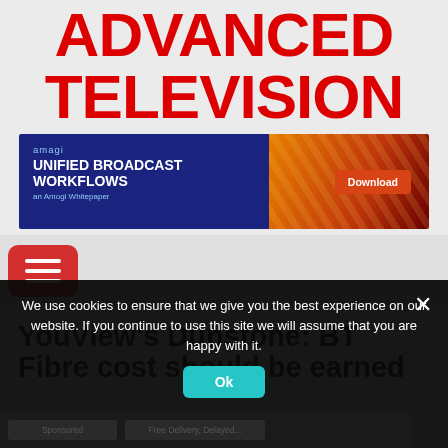ADVANCED TELEVISION
[Figure (other): Amagi advertisement banner: UNIFIED BROADCAST WORKFLOWS - An Amogi Whitepaper, with Download button]
[Figure (other): Red rounded hamburger/menu button with three white horizontal lines]
YouView's Dunstone: BT Fibre cost should be earned
We use cookies to ensure that we give you the best experience on our website. If you continue to use this site we will assume that you are happy with it.
Ok